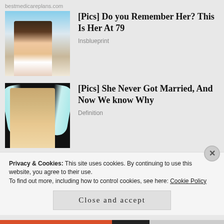bestmedicareplans.com
[Figure (photo): Photo of a woman with short dark hair in a white floral top, outdoors near water]
[Pics] Do you Remember Her? This Is Her At 79
Insblueprint
[Figure (photo): Photo of a woman with long brown hair wearing angel wings against a dark background]
[Pics] She Never Got Married, And Now We know Why
Definition
Privacy & Cookies: This site uses cookies. By continuing to use this website, you agree to their use.
To find out more, including how to control cookies, see here: Cookie Policy
Close and accept